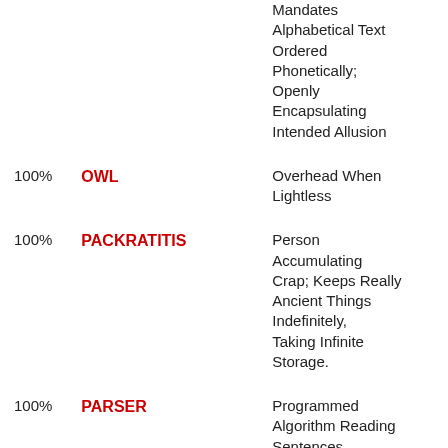|  | Term | Definition | Source |
| --- | --- | --- | --- |
|  |  | Mandates Alphabetical Text Ordered Phonetically; Openly Encapsulating Intended Allusion | Assorted |
| 100% | OWL | Overhead When Lightless | Gavin ... Science |
| 100% | PACKRATITIS | Person Accumulating Crap; Keeps Really Ancient Things Indefinitely, Taking Infinite Storage. | Gavin so man Words Science |
| 100% | PARSER | Programmed Algorithm Reading Sentences, Expressions, Runes | Gavin Compu |
| 100% | PHYSICS (2) | Puzzling | Gavin |